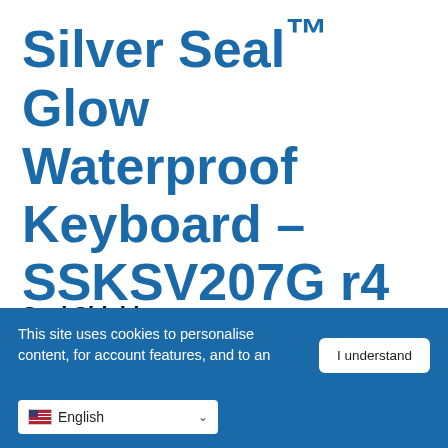Silver Seal™ Glow Waterproof Keyboard – SSKSV207G r4
Seal Shield
Waterproof, LED Backlit, Plastic Standard Style, Quick...
This site uses cookies to personalise content, for account features, and to an...
I understand
English